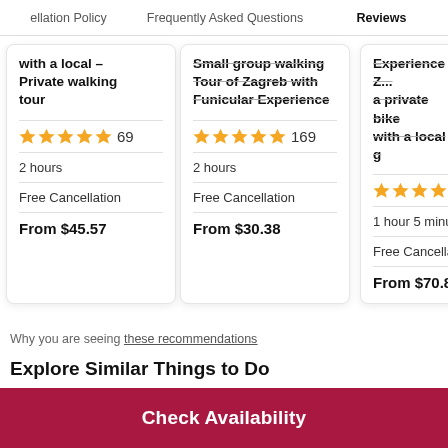ellation Policy   Frequently Asked Questions   Reviews
with a local – Private walking tour
★★★★★ 69
2 hours
Free Cancellation
From $45.57
Small group walking Tour of Zagreb with Funicular Experience
★★★★★ 169
2 hours
Free Cancellation
From $30.38
Experience Z... a private bike... with a local g...
★★★★½
1 hour 5 minutes
Free Cancella...
From $70.89
Why you are seeing these recommendations
Explore Similar Things to Do
Check Availability